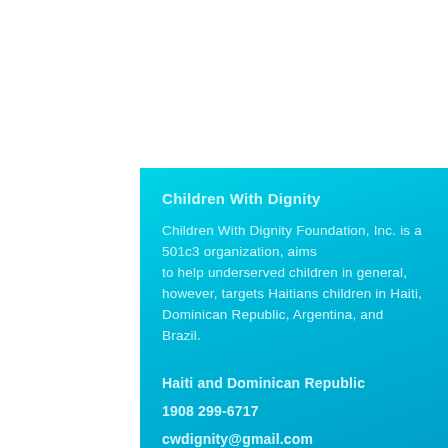Children With Dignity
Children With Dignity Foundation, Inc. is a 501c3 organization, aims to help underserved children in general, however, targets Haitians children in Haiti, Dominican Republic, Argentina, and Brazil.
Haiti and Dominican Republic
1908 299-6717
cwdignity@gmail.com